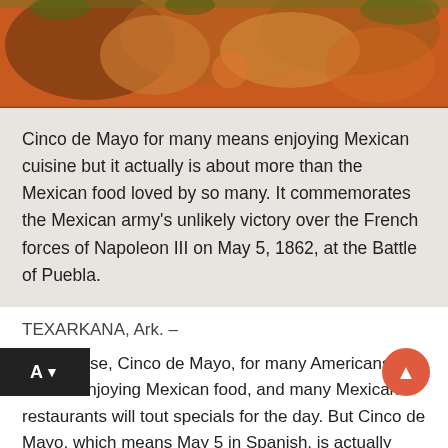[Figure (photo): Mexican cuisine photo showing traditional food items on an orange/red background — visible are what appear to be tortillas, chiles, and other Mexican food with green herb garnishes]
Cinco de Mayo for many means enjoying Mexican cuisine but it actually is about more than the Mexican food loved by so many. It commemorates the Mexican army's unlikely victory over the French forces of Napoleon III on May 5, 1862, at the Battle of Puebla.
TEXARKANA, Ark. –
The phrase, Cinco de Mayo, for many Americans means enjoying Mexican food, and many Mexican restaurants will tout specials for the day. But Cinco de Mayo, which means May 5 in Spanish, is actually about more than the Mexican food loved by so many, it commemorates the Mexican army's unlikely victory over the French forces of Napoleon III on May 5, 1862, at the Battle of